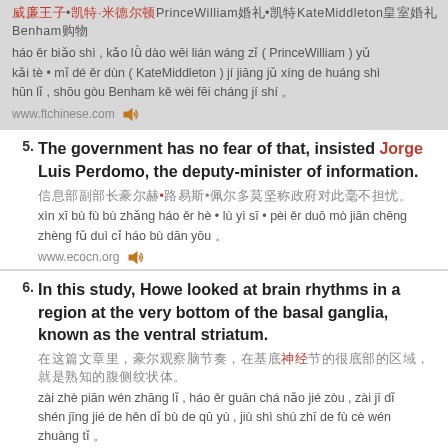威廉王子•凯特·米德尔顿PrinceWilliam婚礼•凯特KateMiddleton皇室婚礼Benham购物
háo ěr biǎo shì , kǎo lǜ dào wēi lián wáng zǐ ( PrinceWilliam ) yǔ kǎi tè • mǐ dé ěr dùn ( KateMiddleton ) jí jiāng jǔ xíng de huáng shì hūn lǐ , shōu gòu Benham kě wèi fēi cháng jí shí 。
www.ftchinese.com
5. The government has no fear of that, insisted Jorge Luis Perdomo, the deputy-minister of information.
信息部副部长豪尔赫•路易斯•佩尔多莫坚称政府对此毫不担忧。
xìn xī bù fù bù zhǎng háo ěr hè • lù yì sī • pèi ěr duō mò jiān chēng zhèng fǔ duì cǐ háo bù dān yōu 。
www.ecocn.org
6. In this study, Howe looked at brain rhythms in a region at the very bottom of the basal ganglia, known as the ventral striatum.
在这篇文章里，豪尔观察脑节奏，在基底神经节的很底部的区域，就是熟知的腹侧纹状体。
zài zhè piān wén zhāng lǐ , háo ěr guān chá nǎo jié zòu , zài jī dǐ shén jīng jié de hěn dǐ bù de qū yù , jiù shì shú zhī de fù cè wén zhuàng tǐ 。
article.yeeyan.org